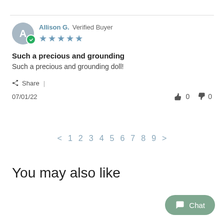Allison G. Verified Buyer ★★★★★
Such a precious and grounding
Such a precious and grounding doll!
Share | 07/01/22  👍 0  👎 0
< 1 2 3 4 5 6 7 8 9 >
You may also like
Chat